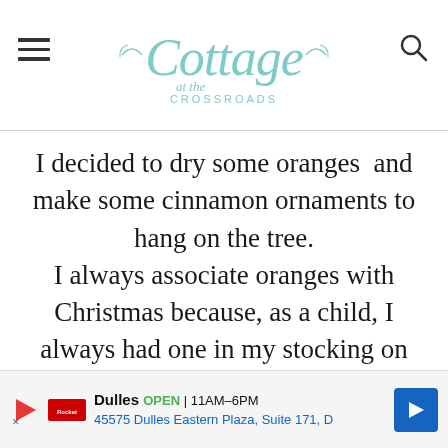Cottage at the Crossroads
I decided to dry some oranges  and make some cinnamon ornaments to hang on the tree. I always associate oranges with Christmas because, as a child, I always had one in my stocking on Christmas morning. That's because years ago, oranges were expensive and rare, and getting one was considered to be a real
[Figure (other): Advertisement banner: Dulles OPEN 11AM-6PM, 45575 Dulles Eastern Plaza, Suite 171, D — with play button icon, Rocketmortgage logo, and blue navigation arrow button]